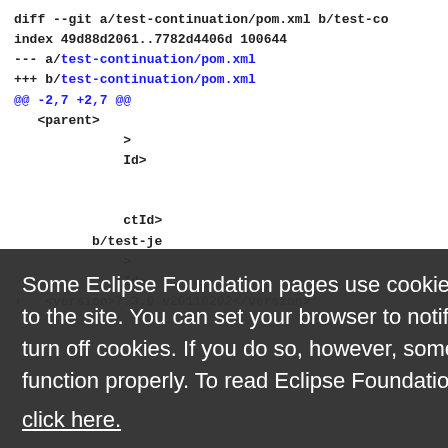diff --git a/test-continuation/pom.xml b/test-co
index 49d88d2061..7782d4406d 100644
--- a/test-continuation/pom.xml
+++ b/test-continuation/pom.xml
@@ -2,7 +2,7 @@
    <parent>
         >
         Id>
         ctId>
     b/test-je
         >
         Id>
+ <version>7.3.0.v20110202</version>
Some Eclipse Foundation pages use cookies to better serve you when you return to the site. You can set your browser to notify you before you receive a cookie or turn off cookies. If you do so, however, some areas of some sites may not function properly. To read Eclipse Foundation Privacy Policy
click here.
Decline
Allow cookies